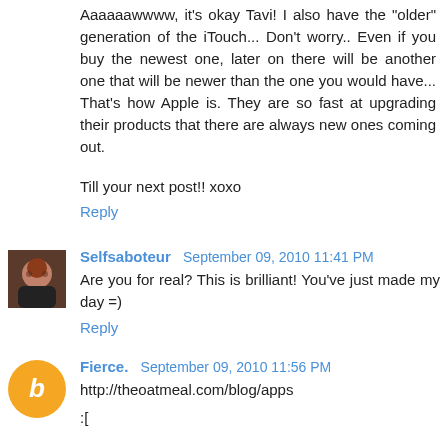Aaaaaawwww, it's okay Tavi! I also have the "older" generation of the iTouch... Don't worry.. Even if you buy the newest one, later on there will be another one that will be newer than the one you would have... That's how Apple is. They are so fast at upgrading their products that there are always new ones coming out.
Till your next post!! xoxo
Reply
Selfsaboteur  September 09, 2010 11:41 PM
Are you for real? This is brilliant! You've just made my day =)
Reply
Fierce.  September 09, 2010 11:56 PM
http://theoatmeal.com/blog/apps
:[